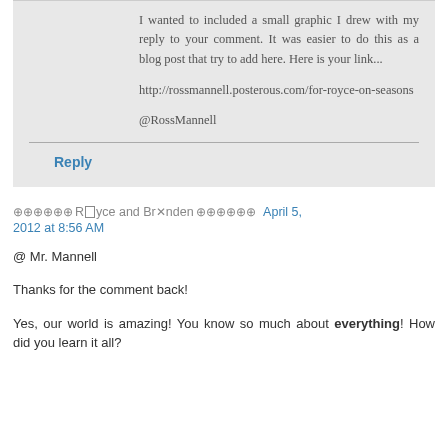I wanted to included a small graphic I drew with my reply to your comment. It was easier to do this as a blog post that try to add here. Here is your link...
http://rossmannell.posterous.com/for-royce-on-seasons
@RossMannell
Reply
⊕⊕⊕⊕⊕⊕Royce and Brønden⊕⊕⊕⊕⊕⊕ April 5, 2012 at 8:56 AM
@ Mr. Mannell
Thanks for the comment back!
Yes, our world is amazing! You know so much about everything! How did you learn it all?